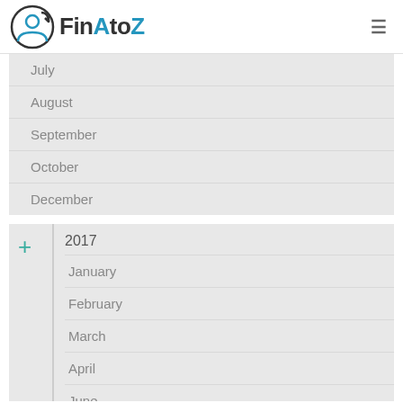FinAtoZ
July
August
September
October
December
2017
January
February
March
April
June
October